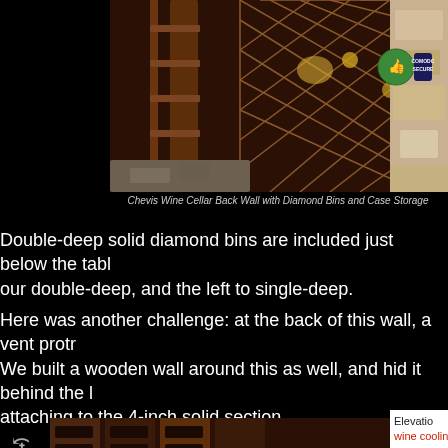[Figure (photo): Wine cellar back wall with diamond bins and case storage, wooden ladder visible in foreground]
Chevis Wine Cellar Back Wall with Diamond Bins and Case Storage
Double-deep solid diamond bins are included just below the tabl our double-deep, and the left to single-deep.
Here was another challenge: at the back of this wall, a vent protr We built a wooden wall around this as well, and hid it behind the l attaching to the 4-inch solid section.
[Figure (photo): Wine cellar with ladder and bottle storage shelves]
Elevatio wine cooling syst wall. Another lado